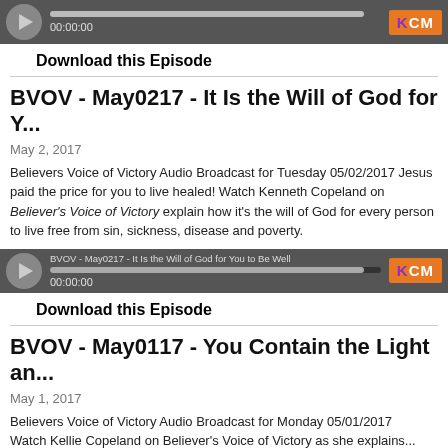[Figure (other): Audio player widget with play button, progress bar showing 00:00:00, and KCM orange/purple badge]
Download this Episode
BVOV - May0217 - It Is the Will of God for Y...
May 2, 2017
Believers Voice of Victory Audio Broadcast for Tuesday 05/02/2017 Jesus paid the price for you to live healed! Watch Kenneth Copeland on Believer's Voice of Victory explain how it's the will of God for every person to live free from sin, sickness, disease and poverty.
[Figure (other): Audio player widget labeled 'BVOV - May0217 - It Is the Will of God for You to Be Well' with play button, progress bar showing 00:00:00, and KCM orange/purple badge]
Download this Episode
BVOV - May0117 - You Contain the Light an...
May 1, 2017
Believers Voice of Victory Audio Broadcast for Monday 05/01/2017 Watch Kellie Copeland on Believer's Voice of Victory as she explains...